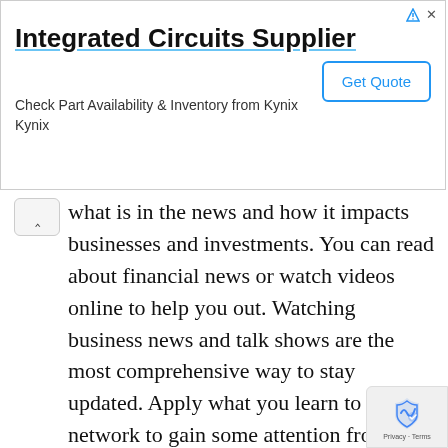[Figure (other): Advertisement banner for Integrated Circuits Supplier - Kynix, with title, description, and Get Quote button]
what is in the news and how it impacts businesses and investments. You can read about financial news or watch videos online to help you out. Watching business news and talk shows are the most comprehensive way to stay updated. Apply what you learn to your network to gain some attention from relevant people.
Start Blogging
Who said blogs were only for lifestyle writers? One of the best ways to showcase your